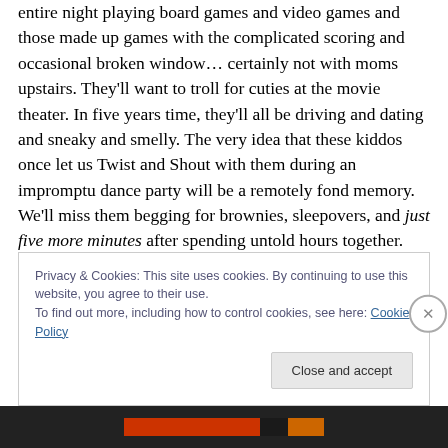entire night playing board games and video games and those made up games with the complicated scoring and occasional broken window… certainly not with moms upstairs. They'll want to troll for cuties at the movie theater. In five years time, they'll all be driving and dating and sneaky and smelly. The very idea that these kiddos once let us Twist and Shout with them during an impromptu dance party will be a remotely fond memory. We'll miss them begging for brownies, sleepovers, and just five more minutes after spending untold hours together. But if we have Barb and Arnie luck, we'll share these memories
Privacy & Cookies: This site uses cookies. By continuing to use this website, you agree to their use.
To find out more, including how to control cookies, see here: Cookie Policy